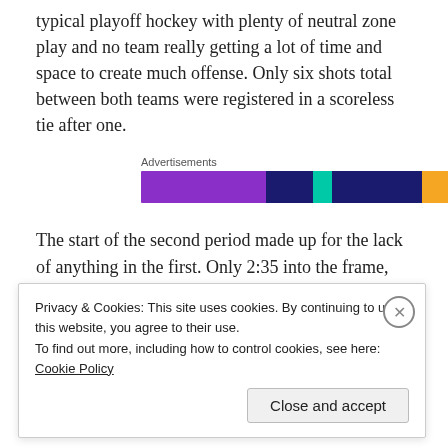and Ethan Werek to the line-up. The first period was typical playoff hockey with plenty of neutral zone play and no team really getting a lot of time and space to create much offense. Only six shots total between both teams were registered in a scoreless tie after one.
[Figure (other): Advertisement banner with purple, dark blue, teal, and orange sections labeled 'Advertisements']
The start of the second period made up for the lack of anything in the first. Only 2:35 into the frame, Jaek Sanderson announced his return, pump faking of a shot
Privacy & Cookies: This site uses cookies. By continuing to use this website, you agree to their use.
To find out more, including how to control cookies, see here: Cookie Policy